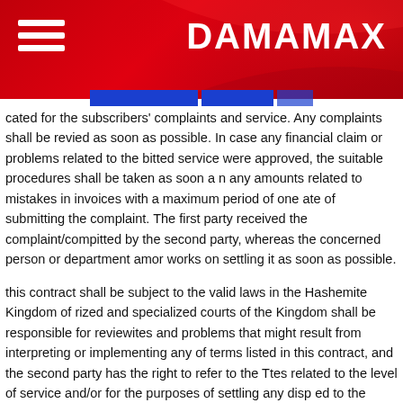DAMAMAX
cated for the subscribers' complaints and service. Any complaints shall be reviewed as soon as possible. In case any financial claim or problems related to the billed service were approved, the suitable procedures shall be taken as soon as any amounts related to mistakes in invoices with a maximum period of one date of submitting the complaint. The first party received the complaint/complaint submitted by the second party, whereas the concerned person or department among works on settling it as soon as possible.
this contract shall be subject to the valid laws in the Hashemite Kingdom of Jordan and authorized and specialized courts of the Kingdom shall be responsible for reviewing any disputes and problems that might result from interpreting or implementing any of the terms listed in this contract, and the second party has the right to refer to the Telecommunications disputes related to the level of service and/or for the purposes of settling any disputes related to the terms and conditions of this contract on the hotline 117000 published on the site.
the first party shall commit to solve all the complaints submitted to it by the